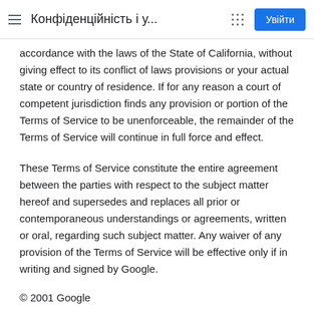Конфіденційність і у...
accordance with the laws of the State of California, without giving effect to its conflict of laws provisions or your actual state or country of residence. If for any reason a court of competent jurisdiction finds any provision or portion of the Terms of Service to be unenforceable, the remainder of the Terms of Service will continue in full force and effect.
These Terms of Service constitute the entire agreement between the parties with respect to the subject matter hereof and supersedes and replaces all prior or contemporaneous understandings or agreements, written or oral, regarding such subject matter. Any waiver of any provision of the Terms of Service will be effective only if in writing and signed by Google.
© 2001 Google